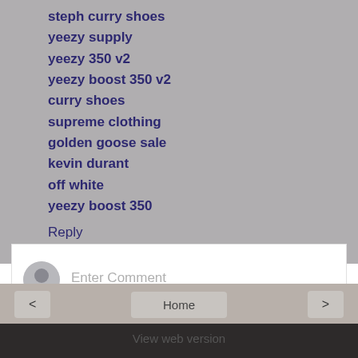steph curry shoes
yeezy supply
yeezy 350 v2
yeezy boost 350 v2
curry shoes
supreme clothing
golden goose sale
kevin durant
off white
yeezy boost 350
Reply
Enter Comment
Home
View web version